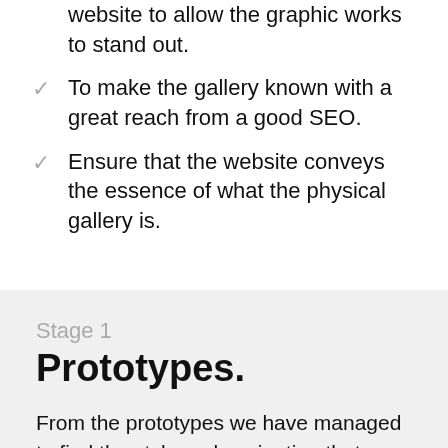website to allow the graphic works to stand out.
To make the gallery known with a great reach from a good SEO.
Ensure that the website conveys the essence of what the physical gallery is.
Stage 1
Prototypes.
From the prototypes we have managed to find the style and navigation that was needed for the gallery site. The style and